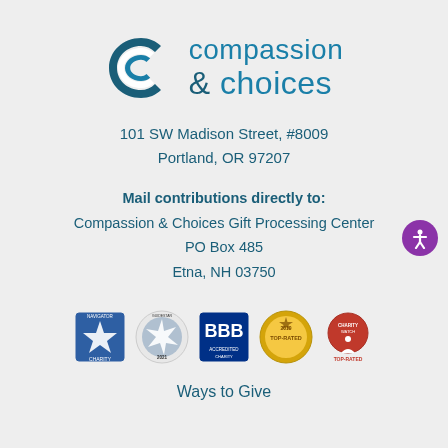[Figure (logo): Compassion & Choices logo with stylized C and teal text]
101 SW Madison Street, #8009
Portland, OR 97207
Mail contributions directly to:
Compassion & Choices Gift Processing Center
PO Box 485
Etna, NH 03750
[Figure (logo): Row of five certification/rating badges: Charity Navigator, GuideStar Platinum Transparency 2021, BBB, 2019 Top-Rated, Charity Watch Top-Rated]
Ways to Give